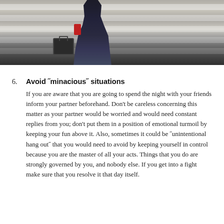[Figure (photo): Person walking on a crosswalk/zebra crossing, carrying a briefcase, wearing jeans and dark jacket with red sleeve detail]
6. Avoid "minacious" situations
If you are aware that you are going to spend the night with your friends inform your partner beforehand. Don't be careless concerning this matter as your partner would be worried and would need constant replies from you; don't put them in a position of emotional turmoil by keeping your fun above it. Also, sometimes it could be "unintentional hang out" that you would need to avoid by keeping yourself in control because you are the master of all your acts. Things that you do are strongly governed by you, and nobody else. If you get into a fight make sure that you resolve it that day itself.